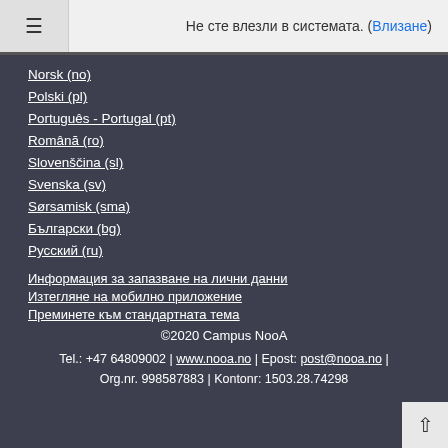Не сте влезли в системата. (Влизане)
Norsk (no)
Polski (pl)
Português - Portugal (pt)
Română (ro)
Slovenščina (sl)
Svenska (sv)
Sørsamisk (sma)
Български (bg)
Русский (ru)
Информация за запазване на лични данни
Изтегляне на мобилно приложение
Преминете към стандартната тема
©2020 Campus NooA
Tel.: +47 64809002 | www.nooa.no | Epost: post@nooa.no |
Org.nr. 998587883 | Kontonr: 1503.28.74298